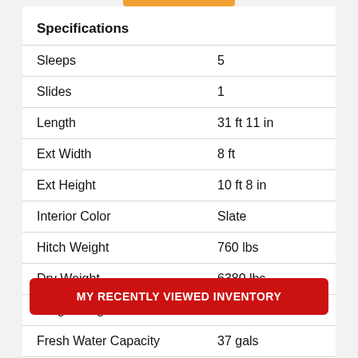Specifications
| Specification | Value |
| --- | --- |
| Sleeps | 5 |
| Slides | 1 |
| Length | 31 ft 11 in |
| Ext Width | 8 ft |
| Ext Height | 10 ft 8 in |
| Interior Color | Slate |
| Hitch Weight | 760 lbs |
| Dry Weight | 6380 lbs |
| Cargo Weight | 1820 lbs |
| Fresh Water Capacity | 37 gals |
| Grey Water Capacity | 76 gals |
| Black Water Capacity |  |
| Tire Size | ST225/75R15D |
MY RECENTLY VIEWED INVENTORY